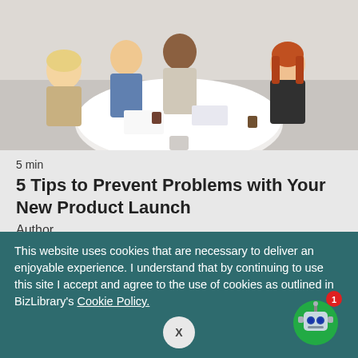[Figure (photo): Group of business professionals sitting around a round white table in a meeting/discussion setting, viewed from above-angle. Four people including men and women of diverse backgrounds are engaged looking at documents and tablets.]
5 min
5 Tips to Prevent Problems with Your New Product Launch
Author
Krista Heumann
Managing communication and expectations
This website uses cookies that are necessary to deliver an enjoyable experience. I understand that by continuing to use this site I accept and agree to the use of cookies as outlined in BizLibrary's Cookie Policy.